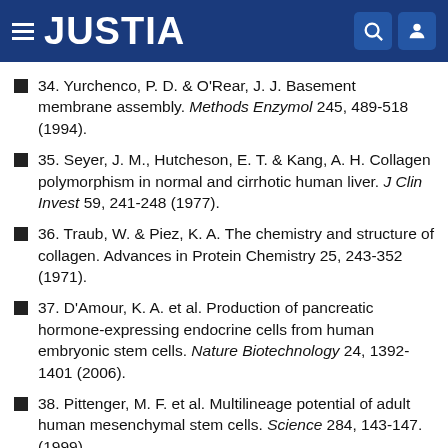JUSTIA
34. Yurchenco, P. D. & O'Rear, J. J. Basement membrane assembly. Methods Enzymol 245, 489-518 (1994).
35. Seyer, J. M., Hutcheson, E. T. & Kang, A. H. Collagen polymorphism in normal and cirrhotic human liver. J Clin Invest 59, 241-248 (1977).
36. Traub, W. & Piez, K. A. The chemistry and structure of collagen. Advances in Protein Chemistry 25, 243-352 (1971).
37. D'Amour, K. A. et al. Production of pancreatic hormone-expressing endocrine cells from human embryonic stem cells. Nature Biotechnology 24, 1392-1401 (2006).
38. Pittenger, M. F. et al. Multilineage potential of adult human mesenchymal stem cells. Science 284, 143-147. (1999).
39. Kazempejad, F. et al. Biochemical and molecular...